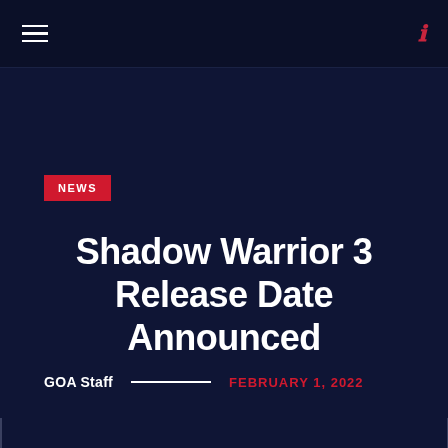GOA — navigation header with hamburger menu and search icon
NEWS
Shadow Warrior 3 Release Date Announced
GOA Staff  FEBRUARY 1, 2022